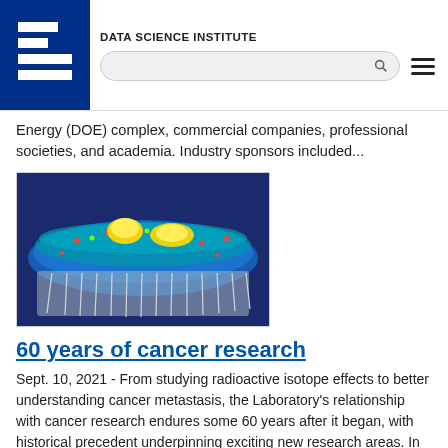DATA SCIENCE INSTITUTE
Energy (DOE) complex, commercial companies, professional societies, and academia. Industry sponsors included...
[Figure (photo): Scientific visualization of a cell membrane with colorful molecular structures — blue, green, teal particles forming a flat disk shape with yellow highlighted proteins on top and silver/white lipid tails below.]
60 years of cancer research
Sept. 10, 2021 - From studying radioactive isotope effects to better understanding cancer metastasis, the Laboratory's relationship with cancer research endures some 60 years after it began, with historical precedent underpinning exciting new research areas. In one Cancer Moonshot project, research includes a close synergy between experiments and computation, allowing scientists to get a better picture of the...